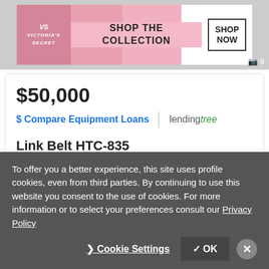[Figure (screenshot): Victoria's Secret advertisement banner: pink background with woman, VS logo, 'SHOP THE COLLECTION' text and 'SHOP NOW' button. Camera icon with number 9 in bottom right.]
$50,000
$ Compare Equipment Loans | lendingtree
Link Belt HTC-835
Private Seller
Montgomery, AL - 680 mi. away
✉ E m a i l
To offer you a better experience, this site uses profile cookies, even from third parties. By continuing to use this website you consent to the use of cookies. For more information or to select your preferences consult our Privacy Policy
❯ Cookie Settings   ✓ OK   ✕